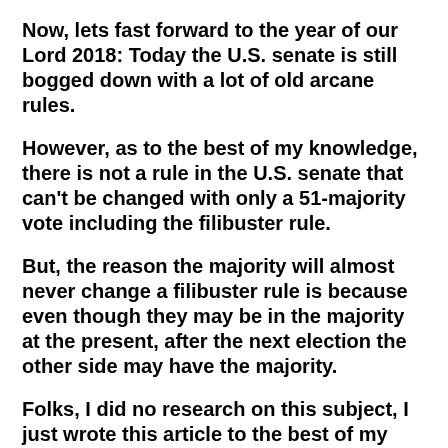Now, lets fast forward to the year of our Lord 2018: Today the U.S. senate is still bogged down with a lot of old arcane rules.
However, as to the best of my knowledge, there is not a rule in the U.S. senate that can't be changed with only a 51-majority vote including the filibuster rule.
But, the reason the majority will almost never change a filibuster rule is because even though they may be in the majority at the present, after the next election the other side may have the majority.
Folks, I did no research on this subject, I just wrote this article to the best of my knowledge. I hope it have been helpful to someone in someway, peace.